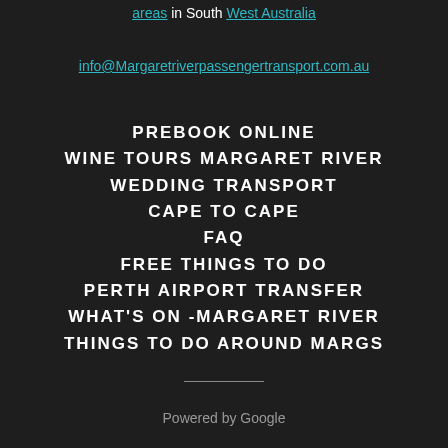areas in South West Australia
info@Margaretriverpassengertransport.com.au
PREBOOK ONLINE
WINE TOURS MARGARET RIVER
WEDDING TRANSPORT
CAPE TO CAPE
FAQ
FREE THINGS TO DO
PERTH AIRPORT TRANSFER
WHAT'S ON -MARGARET RIVER
THINGS TO DO AROUND MARGS
Powered by Google